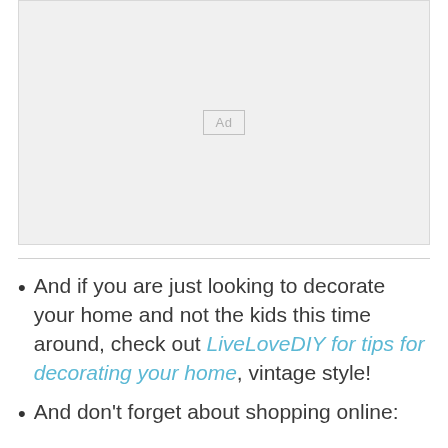[Figure (other): Advertisement placeholder box with 'Ad' label in center]
And if you are just looking to decorate your home and not the kids this time around, check out LiveLoveDIY for tips for decorating your home, vintage style!
And don't forget about shopping online: